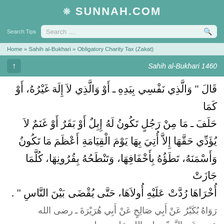SUNNAH.COM
Search Tips  Search...
Home » Sahih al-Bukhari » Obligatory Charity Tax (Zakat)
Sahih al-Bukhari 1460
قال " والذي نفسي بيده ـ أو والذي لا إله غيره، أو كما حَلَف ـ ما من رجلٍ تكون له إبل أو بقر أو غنم لا يؤدّي حقّها إلا أُتي بها يوم القيامة أعظم ما تكون وأسمنه، تطوه بأخفافها، وتنطحه بقرونها، كلّما جازت أخراها رُدّت عليه أولاها، حتّى يُقضى بين الناس ".
رَوَاهُ بُكَيْرٌ عَنْ أَبِي صَالِحٍ عَنْ أَبِي هُرَيْرَةَ ـ رضى الله عنه ـ عَنِ النَّبِيِّ صلى الله عليه وسلم.